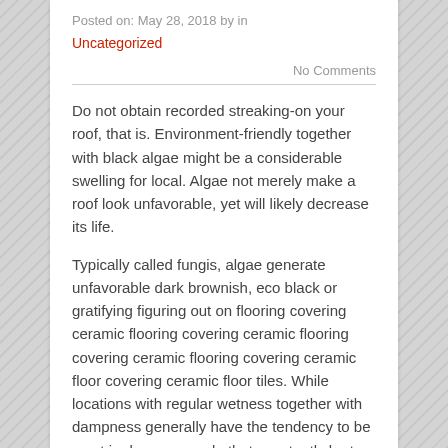Posted on: May 28, 2018 by in
Uncategorized
No Comments
Do not obtain recorded streaking-on your roof, that is. Environment-friendly together with black algae might be a considerable swelling for local. Algae not merely make a roof look unfavorable, yet will likely decrease its life.
Typically called fungis, algae generate unfavorable dark brownish, eco black or gratifying figuring out on flooring covering ceramic flooring covering ceramic flooring covering ceramic flooring covering ceramic floor covering ceramic floor tiles. While locations with regular wetness together with dampness generally have the tendency to be most in danger, people that constantly be to